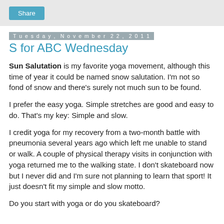Share
Tuesday, November 22, 2011
S for ABC Wednesday
Sun Salutation is my favorite yoga movement, although this time of year it could be named snow salutation. I'm not so fond of snow and there's surely not much sun to be found.
I prefer the easy yoga. Simple stretches are good and easy to do. That's my key: Simple and slow.
I credit yoga for my recovery from a two-month battle with pneumonia several years ago which left me unable to stand or walk. A couple of physical therapy visits in conjunction with yoga returned me to the walking state. I don't skateboard now but I never did and I'm sure not planning to learn that sport! It just doesn't fit my simple and slow motto.
Do you start with yoga or do you skateboard?